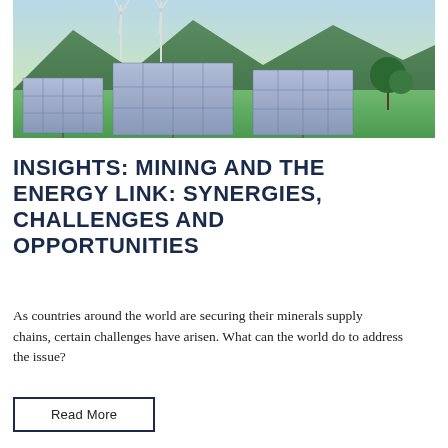[Figure (photo): Solar panels in a green field with wind turbines and mountains in the background under a blue sky]
INSIGHTS: MINING AND THE ENERGY LINK: SYNERGIES, CHALLENGES AND OPPORTUNITIES
As countries around the world are securing their minerals supply chains, certain challenges have arisen. What can the world do to address the issue?
Read More